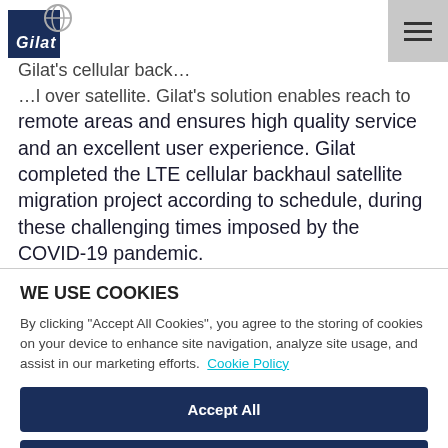Gilat logo and navigation bar
The LTE for 1 MNC comprises a network that is supported by an MBH network that is extended with Gilat's cellular backhaul solution over satellite. Gilat's solution enables reach to remote areas and ensures high quality service and an excellent user experience. Gilat completed the LTE cellular backhaul satellite migration project according to schedule, during these challenging times imposed by the COVID-19 pandemic.
WE USE COOKIES
By clicking "Accept All Cookies", you agree to the storing of cookies on your device to enhance site navigation, analyze site usage, and assist in our marketing efforts.  Cookie Policy
Accept All
Reject All
Cookie Settings